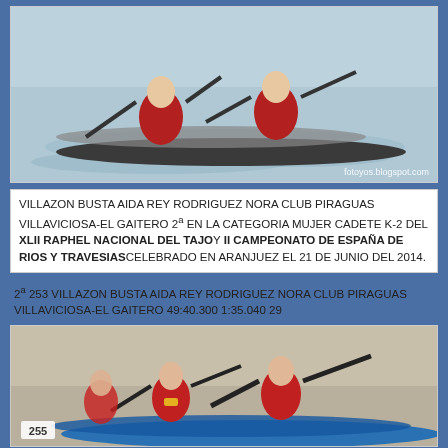[Figure (photo): Two female kayakers paddling in a K-2 kayak on water during a competition. Watermark: fotoyos.blogspot.com]
VILLAZON BUSTA AIDA REY RODRIGUEZ NORA CLUB PIRAGUAS VILLAVICIOSA-EL GAITERO 2ª EN LA CATEGORIA MUJER CADETE K-2 DEL XLII RAPHEL NACIONAL DEL TAJOY II CAMPEONATO DE ESPAÑA DE RIOS Y TRAVESIAS CELEBRADO EN ARANJUEZ EL 21 DE JUNIO DEL 2014.
2ª 253 VILLAZON BUSTA AIDA REY RODRIGUEZ NORA CLUB PIRAGUAS VILLAVICIOSA-EL GAITERO 49:40.300 1:35.040 29
[Figure (photo): Female kayakers paddling in competition, number 255 visible on bow of kayak]